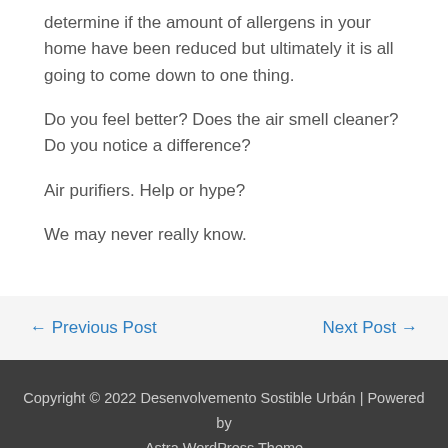determine if the amount of allergens in your home have been reduced but ultimately it is all going to come down to one thing.
Do you feel better? Does the air smell cleaner? Do you notice a difference?
Air purifiers. Help or hype?
We may never really know.
← Previous Post    Next Post →
Copyright © 2022 Desenvolvemento Sostible Urbán | Powered by Astra WordPress Theme